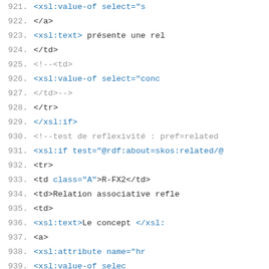Code listing lines 921-947, XSL/XML source code